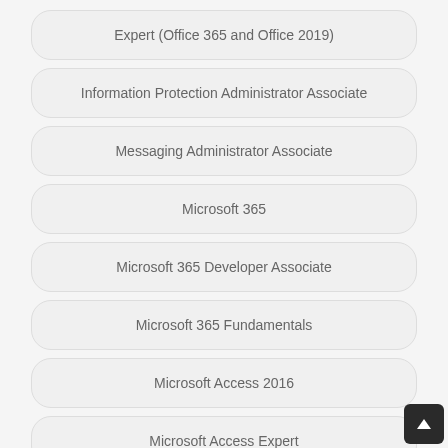Expert (Office 365 and Office 2019)
Information Protection Administrator Associate
Messaging Administrator Associate
Microsoft 365
Microsoft 365 Developer Associate
Microsoft 365 Fundamentals
Microsoft Access 2016
Microsoft Access Expert
Microsoft Azure For SAP Workloads Specialty